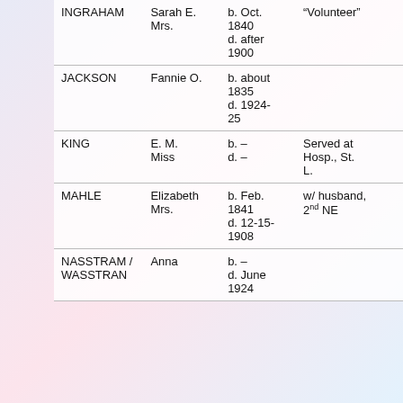| Last Name | First Name / Title | Dates | Notes |
| --- | --- | --- | --- |
| INGRAHAM | Sarah E.
Mrs. | b. Oct. 1840
d. after 1900 | “Volunteer” |
| JACKSON | Fannie O. | b. about 1835
d. 1924-25 |  |
| KING | E. M.
Miss | b. –
d. – | Served at Hosp., St. L. |
| MAHLE | Elizabeth
Mrs. | b. Feb. 1841
d. 12-15-1908 | w/ husband, 2nd NE |
| NASSTRAM / WASSTRAN | Anna | b. –
d. June 1924 |  |